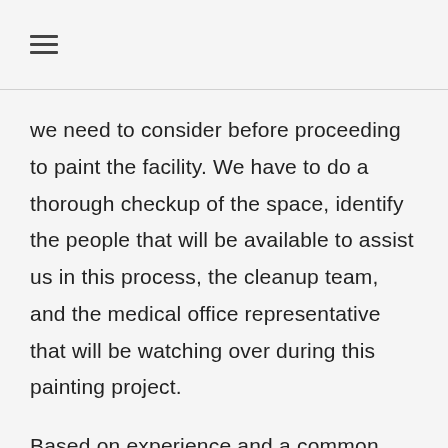≡
we need to consider before proceeding to paint the facility. We have to do a thorough checkup of the space, identify the people that will be available to assist us in this process, the cleanup team, and the medical office representative that will be watching over during this painting project.
Based on experience and a common practice, painting is best done on a weekend when the office is closed. We all know that paint needs to dry at a certain length of time and the weekend will be ideal and perfect. Weekend gives us enough time do what needs to be